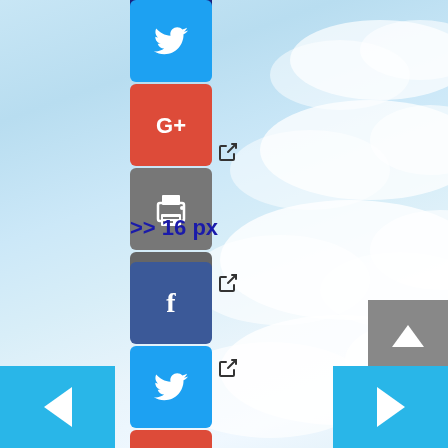[Figure (screenshot): Social media sharing buttons column on a cloud/sky background. Top group: dark blue top strip, Twitter (blue bird), Google+ (red, with external link icon), Print (gray), Email (gray). Label '>> 16 px' in dark blue bold. Bottom group: Facebook (dark blue f, with external link icon), Twitter (blue bird), Google+ (red, with external link icon), Print (gray), Email (gray partial). Navigation arrows: left (cyan) bottom-left, right (cyan) bottom-right, up (gray) right-side. Background is light blue sky with white clouds.]